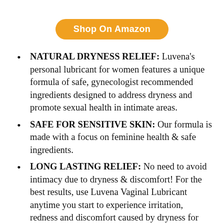[Figure (other): Orange rounded rectangle button with white bold text 'Shop On Amazon']
NATURAL DRYNESS RELIEF: Luvena's personal lubricant for women features a unique formula of safe, gynecologist recommended ingredients designed to address dryness and promote sexual health in intimate areas.
SAFE FOR SENSITIVE SKIN: Our formula is made with a focus on feminine health & safe ingredients.
LONG LASTING RELIEF: No need to avoid intimacy due to dryness & discomfort! For the best results, use Luvena Vaginal Lubricant anytime you start to experience irritation, redness and discomfort caused by dryness for